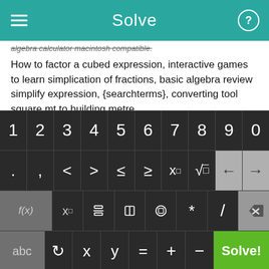Solve
algebra calculator macintosh compatible.
How to factor a cubed expression, interactive games to learn simplication of fractions, basic algebra review simplify expression, {searchterms}, converting tool square mt to building metre.
Fifth Root Solver, writing chemical equations from a cell diagram, ged math (FOIL), Comparing Linear Equations.
Graph circles on calculator, online graphing calculator for
[Figure (screenshot): Math keyboard with number row (1-0), symbol row (. , < > ≤ ≥ x² √ ← →), function row (f(x) x□ fraction absolute-value parentheses * / delete), and bottom row (abc ↺ x y = + − Solve!)]